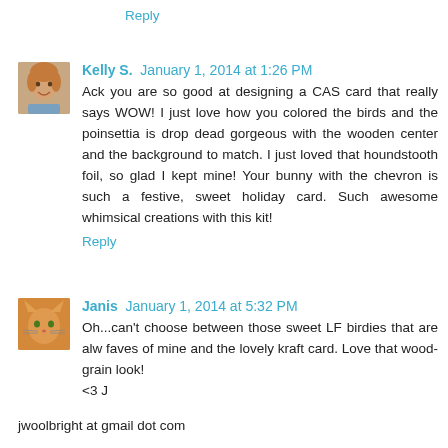Reply
[Figure (photo): Avatar photo of Kelly S., a woman smiling]
Kelly S. January 1, 2014 at 1:26 PM
Ack you are so good at designing a CAS card that really says WOW! I just love how you colored the birds and the poinsettia is drop dead gorgeous with the wooden center and the background to match. I just loved that houndstooth foil, so glad I kept mine! Your bunny with the chevron is such a festive, sweet holiday card. Such awesome whimsical creations with this kit!
Reply
[Figure (photo): Avatar photo of Janis, a cat or animal photo]
Janis January 1, 2014 at 5:32 PM
Oh...can't choose between those sweet LF birdies that are alw faves of mine and the lovely kraft card. Love that wood-grain look!
<3 J
jwoolbright at gmail dot com